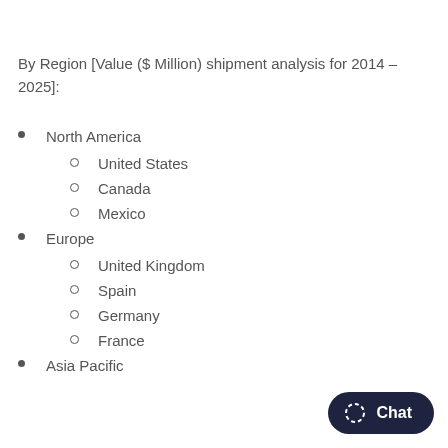By Region [Value ($ Million) shipment analysis for 2014 – 2025]:
North America
United States
Canada
Mexico
Europe
United Kingdom
Spain
Germany
France
Asia Pacific